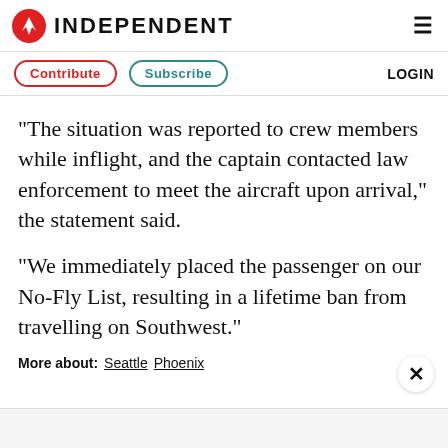INDEPENDENT
Contribute   Subscribe   LOGIN
“The situation was reported to crew members while inflight, and the captain contacted law enforcement to meet the aircraft upon arrival,” the statement said.
“We immediately placed the passenger on our No-Fly List, resulting in a lifetime ban from travelling on Southwest.”
More about: Seattle Phoenix